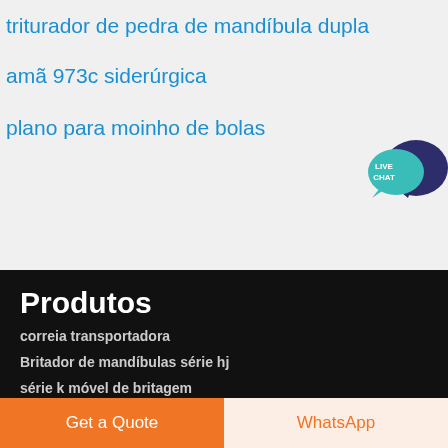triturador de pedra de mandíbula dupla
amã 973c siderúrgica
plano para moinho de bolas
[Figure (illustration): Live Chat speech bubble icon with teal and dark navy circles and 'LIVE CHAT' text]
Produtos
correia transportadora
Britador de mandíbulas série hj
série k móvel de britagem
Britador de impacto móvel
Get a Quote
WhatsApp